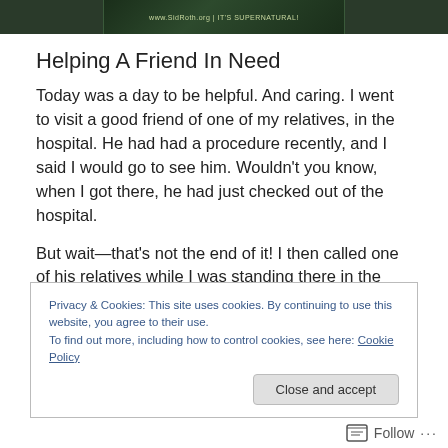[Figure (photo): Banner image with dark green background and text 'www.SidRoth.org | IT'S SUPERNATURAL!']
Helping A Friend In Need
Today was a day to be helpful. And caring. I went to visit a good friend of one of my relatives, in the hospital. He had had a procedure recently, and I said I would go to see him. Wouldn't you know, when I got there, he had just checked out of the hospital.
But wait—that's not the end of it! I then called one of his relatives while I was standing there in the hospital lobby. In
Privacy & Cookies: This site uses cookies. By continuing to use this website, you agree to their use.
To find out more, including how to control cookies, see here: Cookie Policy
Close and accept
Follow ...